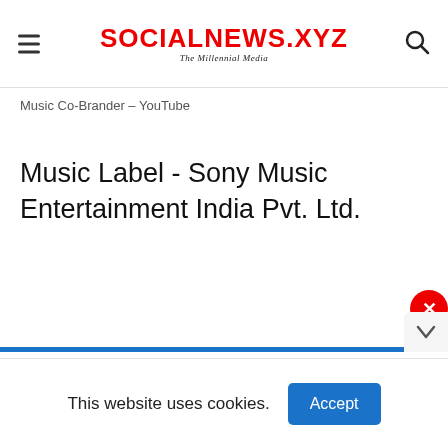SOCIALNEWS.XYZ – The Millennial Media
Music Co-Brander – YouTube
Music Label - Sony Music Entertainment India Pvt. Ltd.
This website uses cookies.